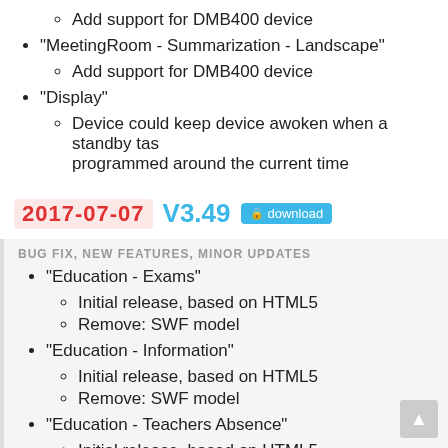Add support for DMB400 device
"MeetingRoom - Summarization - Landscape"
Add support for DMB400 device
"Display"
Device could keep device awoken when a standby task programmed around the current time
2017-07-07 V3.49 download
BUG FIX, NEW FEATURES, MINOR UPDATES
"Education - Exams"
Initial release, based on HTML5
Remove: SWF model
"Education - Information"
Initial release, based on HTML5
Remove: SWF model
"Education - Teachers Absence"
Initial release, based on HTML5